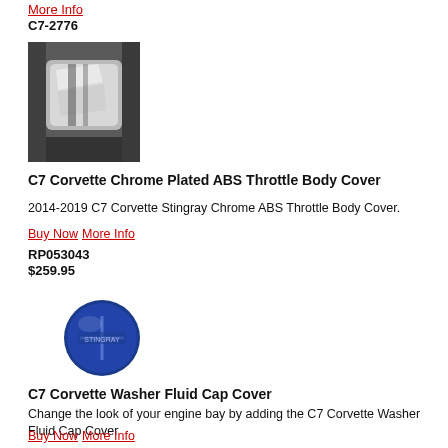More Info
C7-2776
[Figure (photo): Chrome plated ABS throttle body cover on a Corvette engine bay]
C7 Corvette Chrome Plated ABS Throttle Body Cover
2014-2019 C7 Corvette Stingray Chrome ABS Throttle Body Cover.
Buy Now  More Info
RP053043
$259.95
[Figure (photo): Blue C7 Corvette Washer Fluid Cap Cover with logo]
C7 Corvette Washer Fluid Cap Cover
Change the look of your engine bay by adding the C7 Corvette Washer Fluid Cap Cover
Buy Now  More Info
ABD-1517WF
$60.99